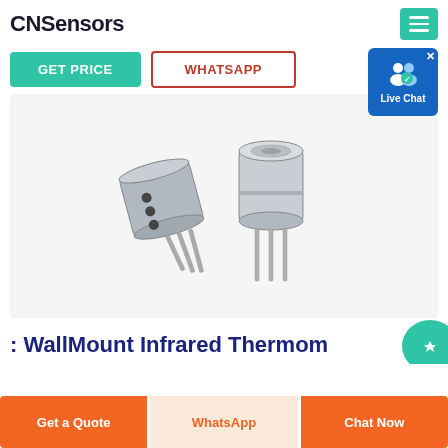CNSensors
GET PRICE
WHATSAPP
Live Chat
[Figure (photo): Two TO-39 metal can infrared thermopile sensor components shown from different angles on a white background]
: WallMount Infrared Thermometer
Get a Quote
WhatsApp
Chat Now